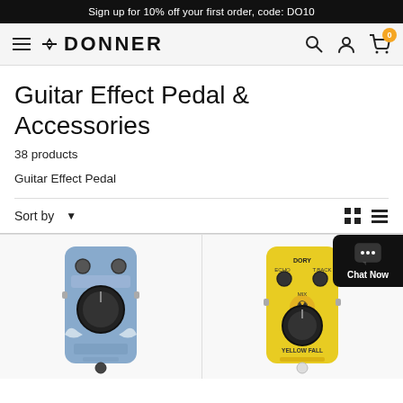Sign up for 10% off your first order, code: DO10
[Figure (logo): Donner brand logo with hamburger menu, search, account, and cart icons]
Guitar Effect Pedal & Accessories
38 products
Guitar Effect Pedal
Sort by
[Figure (photo): Blue Donner guitar effect pedal with knobs]
[Figure (photo): Yellow Donner Yellow Fall echo delay guitar effect pedal]